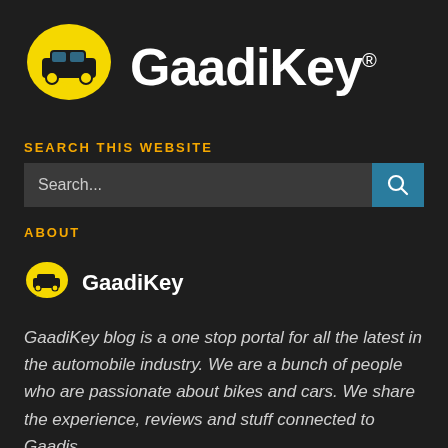[Figure (logo): GaadiKey logo: yellow speech bubble with car icon, text 'GaadiKey' with registered trademark symbol]
SEARCH THIS WEBSITE
[Figure (screenshot): Search input bar with placeholder 'Search...' and teal search button with magnifying glass icon]
ABOUT
[Figure (logo): Small GaadiKey logo with text 'GaadiKey']
GaadiKey blog is a one stop portal for all the latest in the automobile industry. We are a bunch of people who are passionate about bikes and cars. We share the experience, reviews and stuff connected to Gaadis.